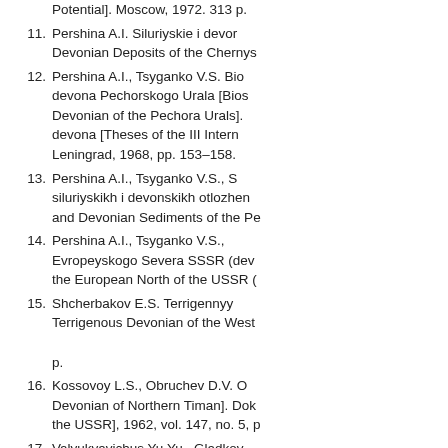[The Paleozoic of the Bolshezem... Potential]. Moscow, 1972. 313 p.
11. Pershina A.I. Siluriyskie i devonskie... Devonian Deposits of the Chernys...
12. Pershina A.I., Tsyganko V.S. Bio... devona Pechorskogo Urala [Bios... Devonian of the Pechora Urals]... devona [Theses of the III Intern... Leningrad, 1968, pp. 153–158.
13. Pershina A.I., Tsyganko V.S., ... siluriyskikh i devonskikh otlozhen... and Devonian Sediments of the Pe...
14. Pershina A.I., Tsyganko V.S., ... Evropeyskogo Severa SSSR (dev... the European North of the USSR (...
15. Shcherbakov E.S. Terrigennyy ... Terrigenous Devonian of the West... p.
16. Kossovoy L.S., Obruchev D.V. O... Devonian of Northern Timan]. Dok... the USSR], 1962, vol. 147, no. 5, p...
17. Valyukyavichus Yu.Yu., Gladkov... Mel'nikov S.V., Menner V.Vl. Stra... [Stratigraphy of the Silurian and...